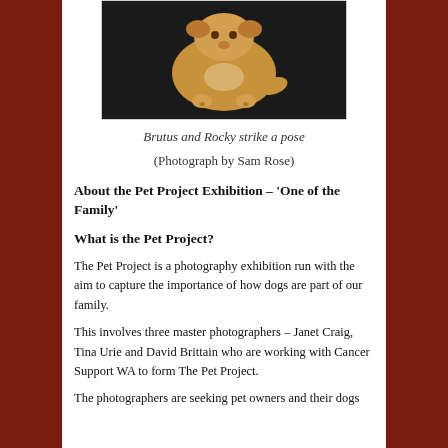[Figure (photo): Overhead view of a dog (Brutus and Rocky) lying on a dark carpet, seen from above showing back and paws.]
Brutus and Rocky strike a pose
(Photograph by Sam Rose)
About the Pet Project Exhibition – 'One of the Family'
What is the Pet Project?
The Pet Project is a photography exhibition run with the aim to capture the importance of how dogs are part of our family.
This involves three master photographers – Janet Craig, Tina Urie and David Brittain who are working with Cancer Support WA to form The Pet Project.
The photographers are seeking pet owners and their dogs